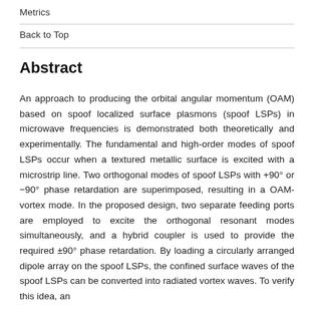Metrics
Back to Top
Abstract
An approach to producing the orbital angular momentum (OAM) based on spoof localized surface plasmons (spoof LSPs) in microwave frequencies is demonstrated both theoretically and experimentally. The fundamental and high-order modes of spoof LSPs occur when a textured metallic surface is excited with a microstrip line. Two orthogonal modes of spoof LSPs with +90° or −90° phase retardation are superimposed, resulting in a OAM-vortex mode. In the proposed design, two separate feeding ports are employed to excite the orthogonal resonant modes simultaneously, and a hybrid coupler is used to provide the required ±90° phase retardation. By loading a circularly arranged dipole array on the spoof LSPs, the confined surface waves of the spoof LSPs can be converted into radiated vortex waves. To verify this idea, an